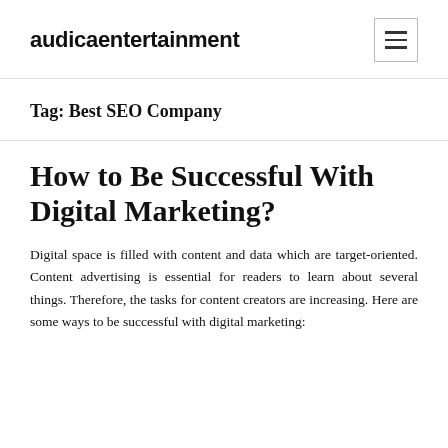audicaentertainment
Tag: Best SEO Company
How to Be Successful With Digital Marketing?
Digital space is filled with content and data which are target-oriented. Content advertising is essential for readers to learn about several things. Therefore, the tasks for content creators are increasing. Here are some ways to be successful with digital marketing: